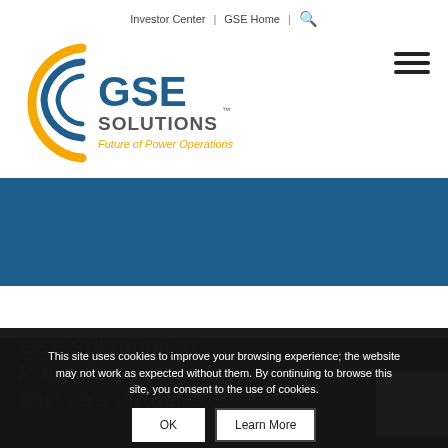Investor Center | GSE Home | 🔍
[Figure (logo): GSE Solutions logo — circular arc icon in orange/blue, text 'GSE SOLUTIONS' with tagline 'Future of Power Operations']
[Figure (other): Dark blue horizontal band (hero image area)]
GSE Solutions to Present at Lytham Partners Virtual 2021
This site uses cookies to improve your browsing experience; the website may not work as expected without them. By continuing to browse this site, you consent to the use of cookies.
OK   Learn More